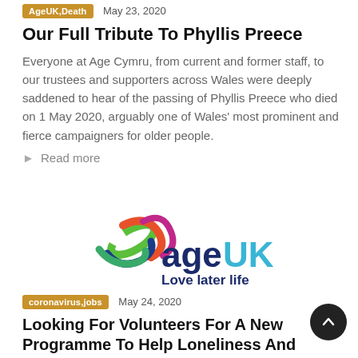AgeUK, Death  May 23, 2020
Our Full Tribute To Phyllis Preece
Everyone at Age Cymru, from current and former staff, to our trustees and supporters across Wales were deeply saddened to hear of the passing of Phyllis Preece who died on 1 May 2020, arguably one of Wales' most prominent and fierce campaigners for older people.
Read more
[Figure (logo): Age UK logo with swirling ribbon graphic and tagline 'Love later life']
coronavirus, jobs  May 24, 2020
Looking For Volunteers For A New Programme To Help Loneliness And Isolation.